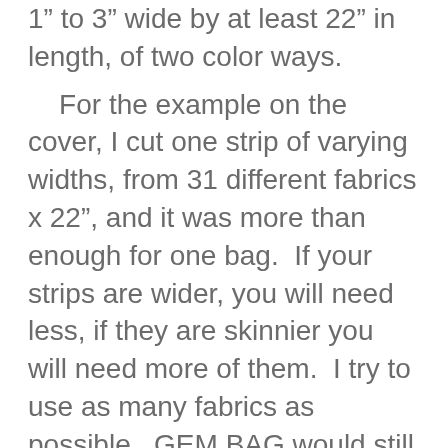1" to 3" wide by at least 22" in length, of two color ways.
    For the example on the cover, I cut one strip of varying widths, from 31 different fabrics x 22", and it was more than enough for one bag.  If your strips are wider, you will need less, if they are skinnier you will need more of them.  I try to use as many fabrics as possible.  GEM BAG would still work with 10 to 16 different fabrics.  Pre-coordinated fat quarter bundles or 2-1/2" strip rolls work great.
LINING FABRIC:  1/2 yard